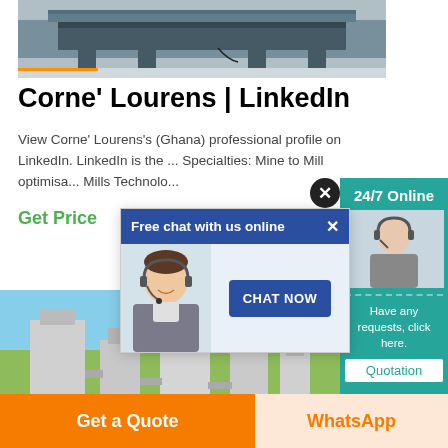[Figure (photo): Industrial machinery / conveyor equipment photo at top of page]
Corne' Lourens | LinkedIn
View Corne' Lourens's (Ghana) professional profile on LinkedIn. LinkedIn is the ... Specialties: Mine to Mill optimisa... Mills Technolo...
Get Price
[Figure (photo): Industrial facility / ductwork / silos outdoor photo]
[Figure (photo): Chat popup with customer service representative wearing headset]
[Figure (screenshot): Teal sidebar panel with 24/7 Online, customer service photo, Have any requests click here, and Quotation button]
Free chat with us online
CHAT NOW
24/7 Online
Have any requests, click here.
Quotation
Get a Quote
WhatsApp